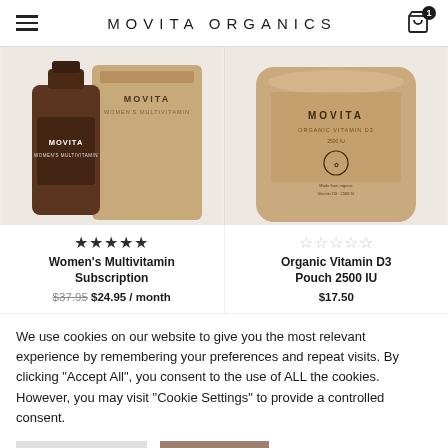MOVITA ORGANICS
[Figure (photo): Two Movita Organics product images side by side: left shows a dark amber glass bottle and a tan kraft paper pouch for Women's Multivitamin; right shows a large tan kraft paper cylindrical pouch for Organic Vitamin D3]
Women's Multivitamin Subscription ★★★★★ $37.95 $24.95 / month
Organic Vitamin D3 Pouch 2500 IU ☆☆☆☆☆ $17.50
We use cookies on our website to give you the most relevant experience by remembering your preferences and repeat visits. By clicking "Accept All", you consent to the use of ALL the cookies. However, you may visit "Cookie Settings" to provide a controlled consent.